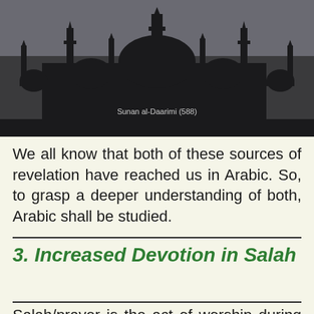[Figure (photo): Dark silhouette of a mosque cityscape with minarets and domes against a grey sky, with a citation text 'Sunan al-Daarimi (588)' overlaid in light grey]
We all know that both of these sources of revelation have reached us in Arabic. So, to grasp a deeper understanding of both, Arabic shall be studied.
3. Increased Devotion in Salah
Salah/prayer is the act of worship during which most Muslims find